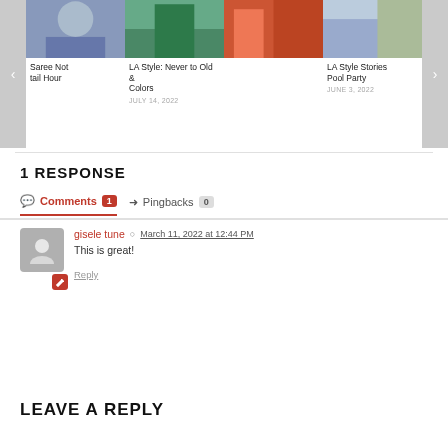[Figure (screenshot): Carousel of fashion blog posts with images: Saree Not tail Hour, LA Style: Never to Old & Colors (July 14, 2022), LA Style Stories Pool Party (June 3, 2022)]
1 RESPONSE
Comments 1  Pingbacks 0
gisele tune  March 11, 2022 at 12:44 PM
This is great!
Reply
LEAVE A REPLY